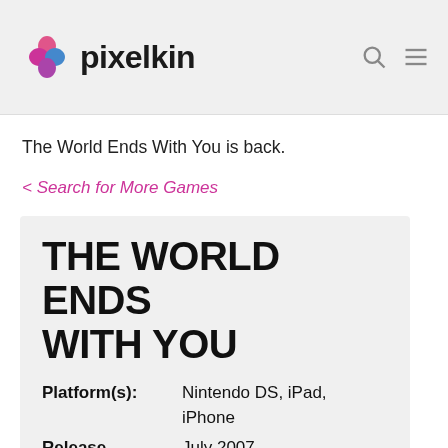pixelkin
The World Ends With You is back.
< Search for More Games
THE WORLD ENDS WITH YOU
| Field | Value |
| --- | --- |
| Platform(s): | Nintendo DS, iPad, iPhone |
| Release Date: | July 2007 |
| Genre: | Action/Adventure, |